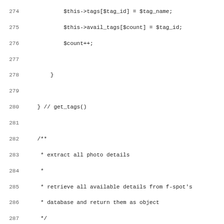[Figure (screenshot): Source code listing showing PHP lines 274-306, including get_tags() closing brace, phpdoc comment for extract all photo details, get_photo_details function definition, conditional SQL queries using dbver check, and a show_tags comment block.]